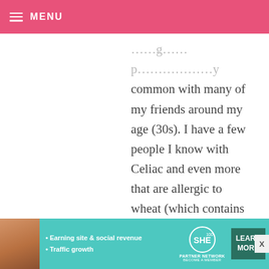MENU
common with many of my friends around my age (30s). I have a few people I know with Celiac and even more that are allergic to wheat (which contains gluten). The best resource I have found so far for information is Living Without magazine. They also have a website with information and recipes (www.livingwithout.com).

I am also in pastry school and unfortunately there isn't enough
[Figure (infographic): Advertisement banner for SHE Partner Network. Features a woman's photo on the left, bullet points reading 'Earning site & social revenue' and 'Traffic growth', the SHE logo in a circle, text 'PARTNER NETWORK BECOME A MEMBER', a dark green 'LEARN MORE' button, and a close (X) button.]